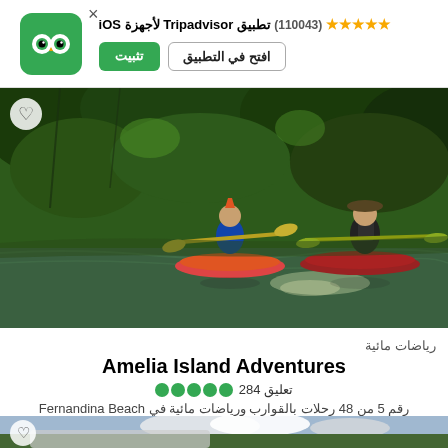تطبيق Tripadvisor لأجهزة (110043) ★★★★★ iOS — تثبيت — افتح في التطبيق
[Figure (photo): Two kayakers paddling on a calm river surrounded by lush green trees, viewed from behind]
رياضات مائية
Amelia Island Adventures
●●●●● 284 تعليق
رقم 5 من 48 رحلات بالقوارب ورياضات مائية في Fernandina Beach
[Figure (photo): Partial view of a car and outdoor scenery with cloudy sky]